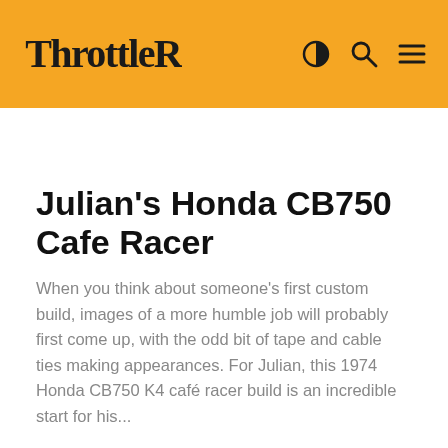ThrottleRoll
Julian's Honda CB750 Cafe Racer
When you think about someone's first custom build, images of a more humble job will probably first come up, with the odd bit of tape and cable ties making appearances. For Julian, this 1974 Honda CB750 K4 café racer build is an incredible start for his...